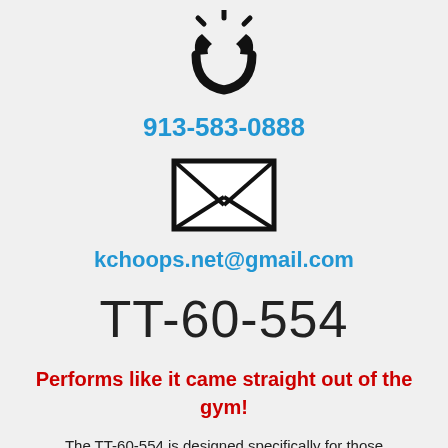[Figure (illustration): Ringing telephone handset icon in black]
913-583-0888
[Figure (illustration): Envelope/mail icon in black outline]
kchoops.net@gmail.com
TT-60-554
Performs like it came straight out of the gym!
The TT-60-554 is designed specifically for those